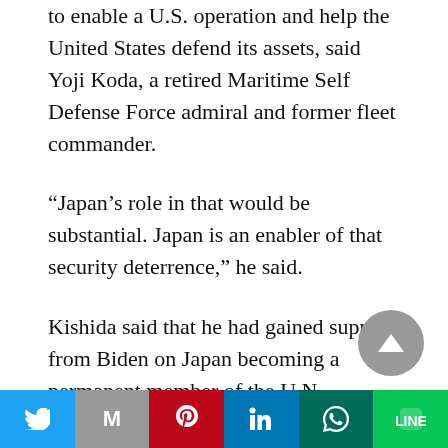to enable a U.S. operation and help the United States defend its assets, said Yoji Koda, a retired Maritime Self Defense Force admiral and former fleet commander.
“Japan’s role in that would be substantial. Japan is an enabler of that security deterrence,” he said.
Kishida said that he had gained support from Biden on Japan becoming a permanent member of the U.N. Security Council amid growing calls for reform of the council. China and Russia are permanent members.
[Figure (other): Scroll-to-top circular button with upward triangle arrow, grey background]
[Figure (other): Social share bar with Twitter, Gmail (M), Pinterest, LinkedIn, WhatsApp, Line icons]